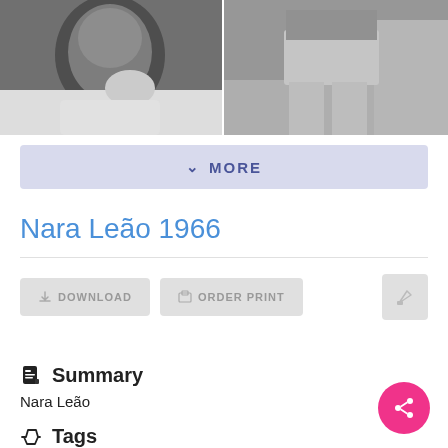[Figure (photo): Two black and white photos side by side: left shows a person's face in profile, right shows a person from waist down wearing shorts]
MORE
Nara Leão 1966
DOWNLOAD   ORDER PRINT
Summary
Nara Leão
Tags